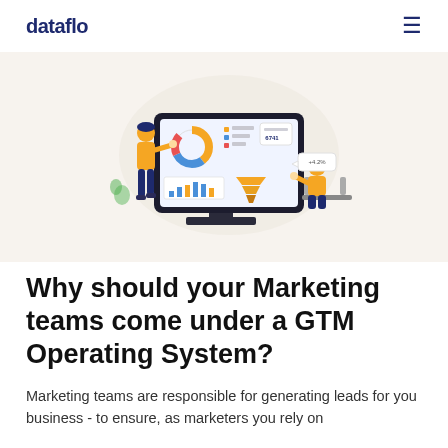dataflo
[Figure (illustration): Two illustrated people working with a large monitor showing dashboard charts and analytics. One person stands pointing at the screen, another sits at a desk beside the monitor. The monitor displays donut chart, bar charts, and funnel visualizations on a light beige background.]
Why should your Marketing teams come under a GTM Operating System?
Marketing teams are responsible for generating leads for you business - to ensure, as marketers you rely on